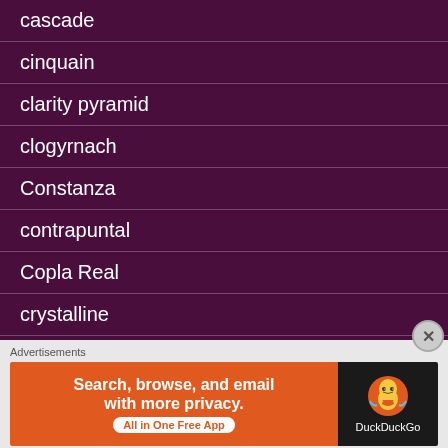cascade
cinquain
clarity pyramid
clogyrnach
Constanza
contrapuntal
Copla Real
crystalline
diamante
Advertisements
Search, browse, and email with more privacy. All in One Free App | DuckDuckGo